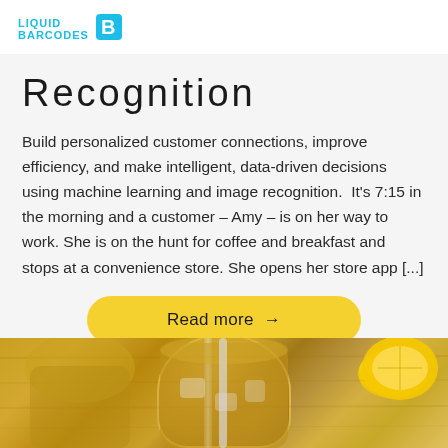LIQUID BARCODES
Recognition
Build personalized customer connections, improve efficiency, and make intelligent, data-driven decisions using machine learning and image recognition.  It's 7:15 in the morning and a customer – Amy – is on her way to work. She is on the hunt for coffee and breakfast and stops at a convenience store. She opens her store app [...]
Read more →
[Figure (photo): Photo of iced tea or cold drink in a glass with a straw, with lemon on the side, on a wooden surface]